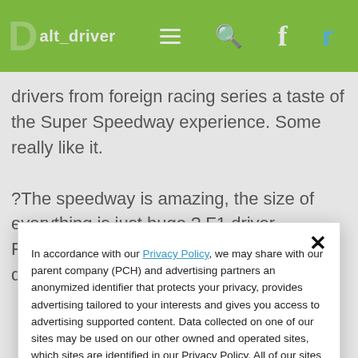alt_driver
drivers from foreign racing series a taste of the Super Speedway experience. Some really like it.

?The speedway is amazing, the size of everything is just huge,? F1 driver Fernando Alonso said in early January during testing at Daytona. ?I
In accordance with our Privacy Policy, we may share with our parent company (PCH) and advertising partners an anonymized identifier that protects your privacy, provides advertising tailored to your interests and gives you access to advertising supported content. Data collected on one of our sites may be used on our other owned and operated sites, which sites are identified in our Privacy Policy. All of our sites are governed by the same Privacy Policy, and by proceeding to access this site, you are consenting to that Privacy Policy.